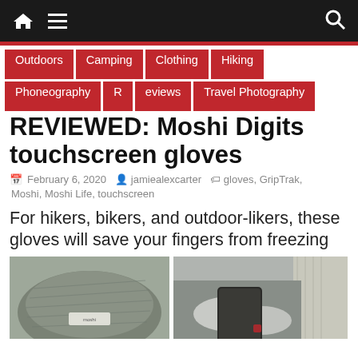Navigation bar with home, menu, and search icons
Outdoors
Camping
Clothing
Hiking
Phoneography
R[eviews]
eviews
Travel Photography
REVIEWED: Moshi Digits touchscreen gloves
February 6, 2020   jamiealexcarter   gloves, GripTrak, Moshi, Moshi Life, touchscreen
For hikers, bikers, and outdoor-likers, these gloves will save your fingers from freezing
[Figure (photo): Close-up photo of a grey knitted Moshi touchscreen glove with a small white label patch]
[Figure (photo): Person wearing light grey Moshi touchscreen gloves holding a smartphone with a dark case, with a knitted scarf visible in the background]